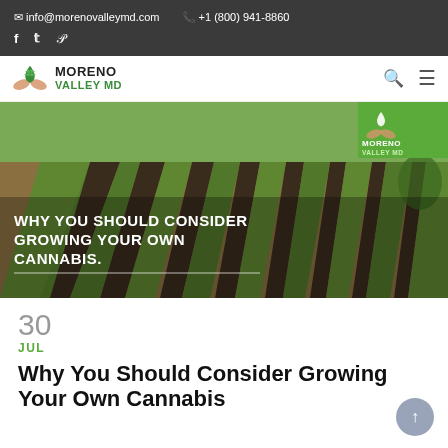info@morenovalleymd.com  +1 (800) 941-8860  f  tw  p
[Figure (logo): Moreno Valley MD logo with cannabis leaf and hands icon]
[Figure (photo): Aerial view of cannabis field with rows of plants, with overlay text: WHY YOU SHOULD CONSIDER GROWING YOUR OWN CANNABIS and Moreno Valley MD logo badge in top right corner]
30
JUL
Why You Should Consider Growing Your Own Cannabis